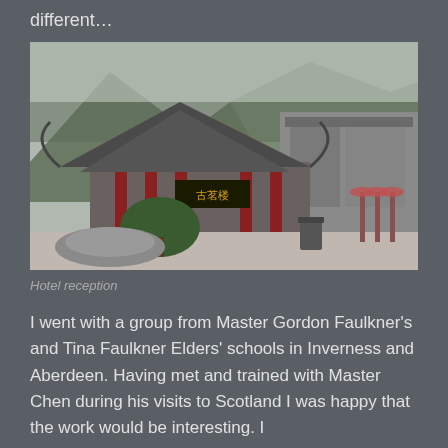different…
[Figure (photo): Photograph of a Chinese temple or hotel reception building with traditional curved roof, red columns, and Chinese signage, surrounded by trees and mountains in the background. A courtyard with bonsai trees and a trash bin is visible in the foreground.]
Hotel reception
I went with a group from Master Gordon Faulkner's and Tina Faulkner Elders' schools in Inverness and Aberdeen. Having met and trained with Master Chen during his visits to Scotland I was happy that the work would be interesting. I